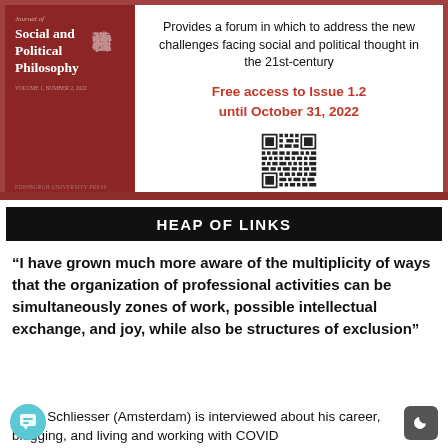[Figure (other): Journal of Social and Political Philosophy book cover advertisement with red background, Chinese characters, QR code, and promotional text. Tagline: 'Provides a forum in which to address the new challenges facing social and political thought in the 21st-century'. Red bold text: 'Free access to Issue 1.2 until October 31, 2022'. QR code image shown.]
HEAP OF LINKS
“I have grown much more aware of the multiplicity of ways that the organization of professional activities can be simultaneously zones of work, possible intellectual exchange, and joy, while also be structures of exclusion”
- Eric Schliesser (Amsterdam) is interviewed about his career, blogging, and living and working with COVID